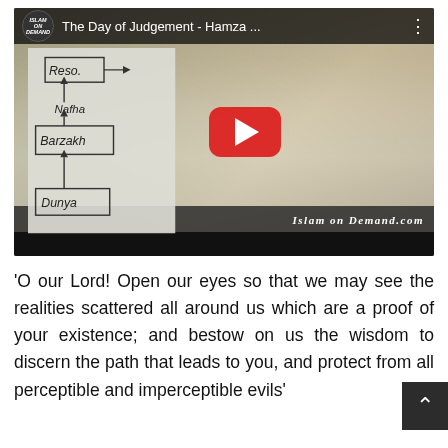[Figure (screenshot): YouTube video thumbnail showing a man in white shirt lecturing in front of a whiteboard with diagrams (Reso, Nafha, Barzakh, Dunya). Video title: 'The Day of Judgement - Hamza ...' from Islam On Demand channel. Red YouTube play button visible. Watermark reads 'ISLAM ON DEMAND.COM'.]
'O our Lord! Open our eyes so that we may see the realities scattered all around us which are a proof of your existence; and bestow on us the wisdom to discern the path that leads to you, and protect from all perceptible and imperceptible evils'